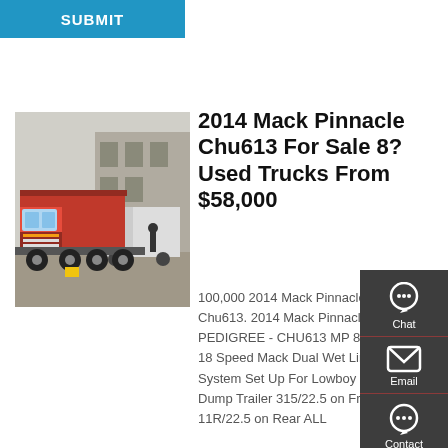SUBMIT
[Figure (photo): Red dump truck (Sinotruk HOWO style) parked in a yard with other trucks and a building in the background]
2014 Mack Pinnacle Chu613 For Sale 8? Used Trucks From $58,000
100,000 2014 Mack Pinnacle Chu613. 2014 Mack Pinnacle PEDIGREE - CHU613 MP 8 505 HP 18 Speed Mack Dual Wet Line System Set Up For Lowboy and Dump Trailer 315/22.5 on Front 11R/22.5 on Rear ALL